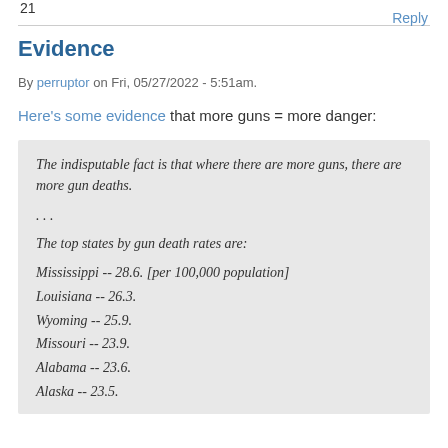21
Reply
Evidence
By perruptor on Fri, 05/27/2022 - 5:51am.
Here's some evidence that more guns = more danger:
The indisputable fact is that where there are more guns, there are more gun deaths.

. . .

The top states by gun death rates are:

Mississippi -- 28.6. [per 100,000 population]
Louisiana -- 26.3.
Wyoming -- 25.9.
Missouri -- 23.9.
Alabama -- 23.6.
Alaska -- 23.5.